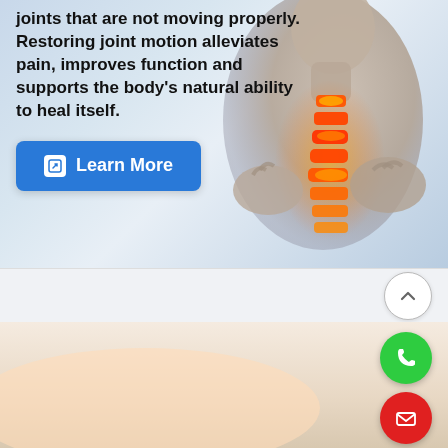joints that are not moving properly. Restoring joint motion alleviates pain, improves function and supports the body's natural ability to heal itself.
[Figure (photo): Person viewed from behind holding their neck/upper back area, with glowing orange/red spine visualization overlay on a blue-grey gradient background]
[Figure (infographic): White section with scroll-up chevron button on right side]
[Figure (infographic): Beige/peach gradient section with green phone call button and red email button on the right side]